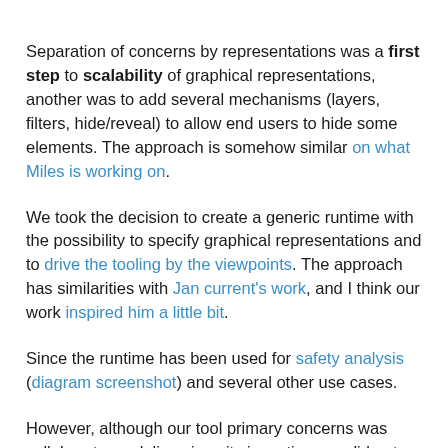Separation of concerns by representations was a first step to scalability of graphical representations, another was to add several mechanisms (layers, filters, hide/reveal) to allow end users to hide some elements. The approach is somehow similar on what Miles is working on.
We took the decision to create a generic runtime with the possibility to specify graphical representations and to drive the tooling by the viewpoints. The approach has similarities with Jan current's work, and I think our work inspired him a little bit.
Since the runtime has been used for safety analysis (diagram screenshot) and several other use cases.
However, although our tool primary concerns was collaborate modeling since its inception, we did not offer directly a solution to the concurrent access problem. In fact, we left it to the Revision Control System (RCS) used by end users. As Alex wrote concurrent access management by